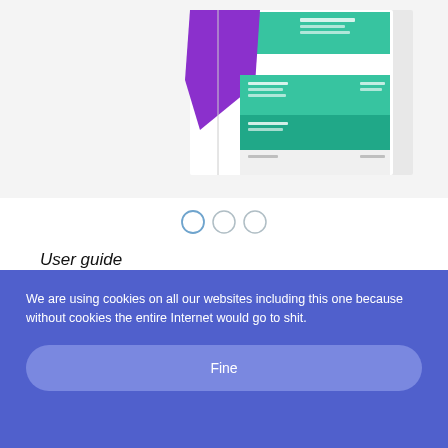[Figure (photo): Open book/brochure showing colorful pages with purple and green/teal design elements and text]
[Figure (other): Three circular dot indicators, first highlighted in blue outline]
User guide
art director
Erken Kagarov
[Figure (other): Button: Request a design...]
designers
We are using cookies on all our websites including this one because without cookies the entire Internet would go to shit.
Fine